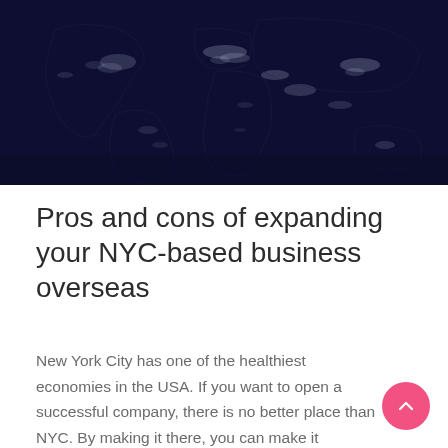[Figure (map): Satellite night-time photo of the world map showing city lights on a dark navy background]
Pros and cons of expanding your NYC-based business overseas
New York City has one of the healthiest economies in the USA. If you want to open a successful company, there is no better place than NYC. By making it there, you can make it anywhere. Since you already have a successful